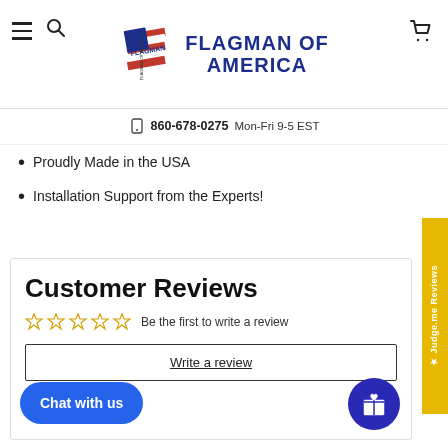Flagman of America — navigation header with logo, phone number 860-678-0275 Mon-Fri 9-5 EST
Proudly Made in the USA
Installation Support from the Experts!
Customer Reviews
☆☆☆☆☆ Be the first to write a review
Write a review